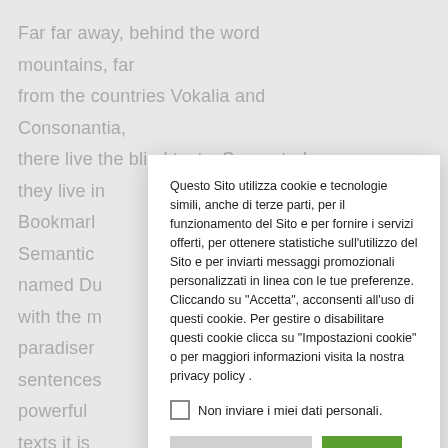Far far away, behind the word mountains, far from the countries Vokalia and Consonantia, there live the blind texts. Separated they live in Bookmarl Semantic named Du with the m paradiser sentences powerful texts it is however a Lorem Ips of Gramm do so, bec Commas, Semikoli, but the Little Blind text didn't listen.
Questo Sito utilizza cookie e tecnologie simili, anche di terze parti, per il funzionamento del Sito e per fornire i servizi offerti, per ottenere statistiche sull'utilizzo del Sito e per inviarti messaggi promozionali personalizzati in linea con le tue preferenze. Cliccando su "Accetta", acconsenti all'uso di questi cookie. Per gestire o disabilitare questi cookie clicca su "Impostazioni cookie" o per maggiori informazioni visita la nostra privacy policy .
Non inviare i miei dati personali.
Impostazioni cookie
Accetta